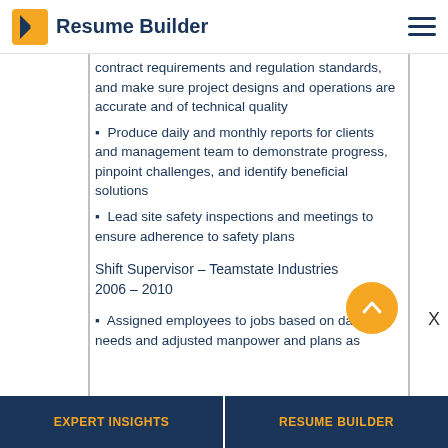Resume Builder
contract requirements and regulation standards, and make sure project designs and operations are accurate and of technical quality
Produce daily and monthly reports for clients and management team to demonstrate progress, pinpoint challenges, and identify beneficial solutions
Lead site safety inspections and meetings to ensure adherence to safety plans
Shift Supervisor – Teamstate Industries
2006 – 2010
Assigned employees to jobs based on daily needs and adjusted manpower and plans as